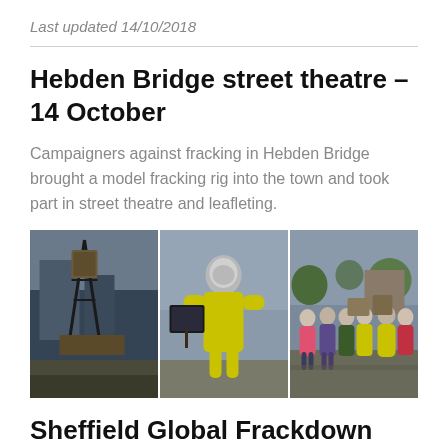Last updated 14/10/2018
Hebden Bridge street theatre – 14 October
Campaigners against fracking in Hebden Bridge brought a model fracking rig into the town and took part in street theatre and leafleting.
[Figure (photo): Three photos side by side showing anti-fracking street theatre in Hebden Bridge: left shows a model fracking rig structure, middle shows a person in a yellow hazmat suit holding a sign, right shows a group of campaigners outdoors.]
Sheffield Global Frackdown Carnival – 13 October